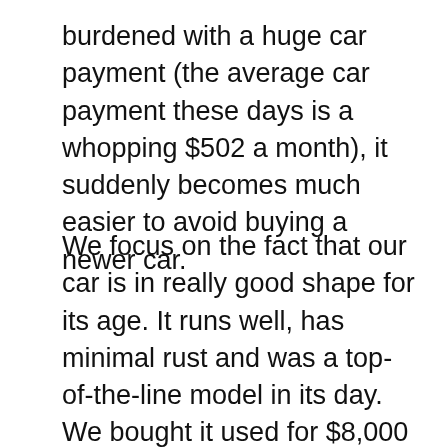burdened with a huge car payment (the average car payment these days is a whopping $502 a month), it suddenly becomes much easier to avoid buying a newer car.
We focus on the fact that our car is in really good shape for its age. It runs well, has minimal rust and was a top-of-the-line model in its day. We bought it used for $8,000 and paid cash.